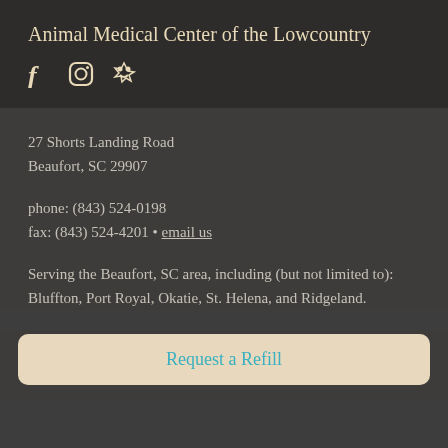Animal Medical Center of the Lowcountry
[Figure (other): Social media icons: Facebook, Instagram, Yelp]
27 Shorts Landing Road
Beaufort, SC 29907
phone: (843) 524-0198
fax: (843) 524-4201 • email us
Serving the Beaufort, SC area, including (but not limited to): Bluffton, Port Royal, Okatie, St. Helena, and Ridgeland.
Request a Refill